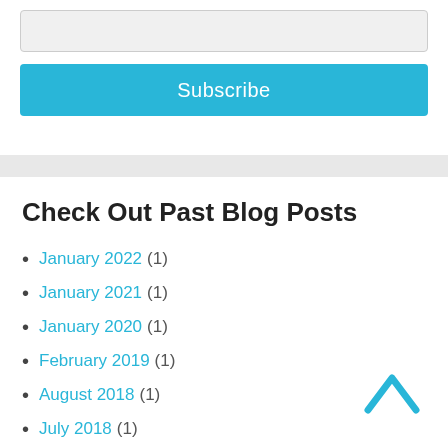[input field]
Subscribe
Check Out Past Blog Posts
January 2022 (1)
January 2021 (1)
January 2020 (1)
February 2019 (1)
August 2018 (1)
July 2018 (1)